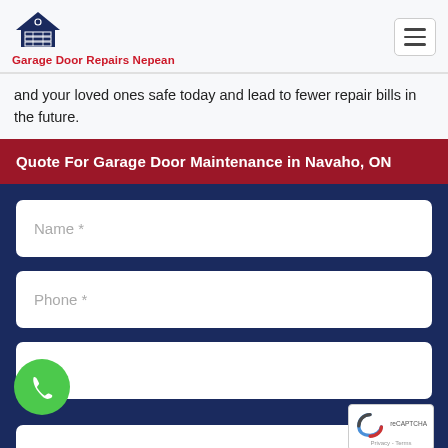Garage Door Repairs Nepean
and your loved ones safe today and lead to fewer repair bills in the future.
Quote For Garage Door Maintenance in Navaho, ON
[Figure (other): Web form with Name, Phone, and partial third field inputs on dark navy background]
[Figure (other): Green phone call floating button (bottom left)]
[Figure (other): reCAPTCHA widget (bottom right)]